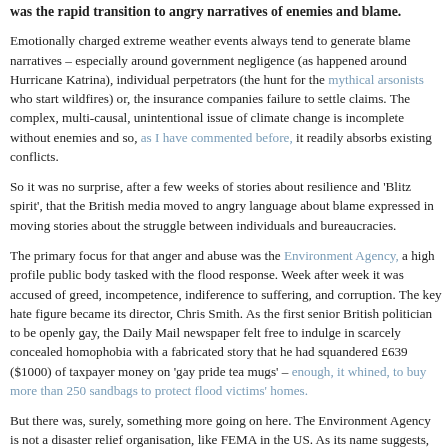was the rapid transition to angry narratives of enemies and blame.
Emotionally charged extreme weather events always tend to generate blame narratives – especially around government negligence (as happened around Hurricane Katrina), individual perpetrators (the hunt for the mythical arsonists who start wildfires) or, the insurance companies failure to settle claims. The complex, multi-causal, unintentional issue of climate change is incomplete without enemies and so, as I have commented before, it readily absorbs existing conflicts.
So it was no surprise, after a few weeks of stories about resilience and 'Blitz spirit', that the British media moved to angry language about blame expressed in moving stories about the struggle between individuals and bureaucracies.
The primary focus for that anger and abuse was the Environment Agency, a high profile public body tasked with the flood response. Week after week it was accused of greed, incompetence, indiference to suffering, and corruption. The key hate figure became its director, Chris Smith. As the first senior British politician to be openly gay, the Daily Mail newspaper felt free to indulge in scarcely concealed homophobia with a fabricated story that he had squandered £639 ($1000) of taxpayer money on 'gay pride tea mugs' – enough, it whined, to buy more than 250 sandbags to protect flood victims' homes.
But there was, surely, something more going on here. The Environment Agency is not a disaster relief organisation, like FEMA in the US. As its name suggests, its mission is to "protect the environment, and to promote sustainable development" and it is one of the lead agencies working on climate change. This includes running the UK Climate Impacts Programme, the scientific network that models the impacts of climate change on future